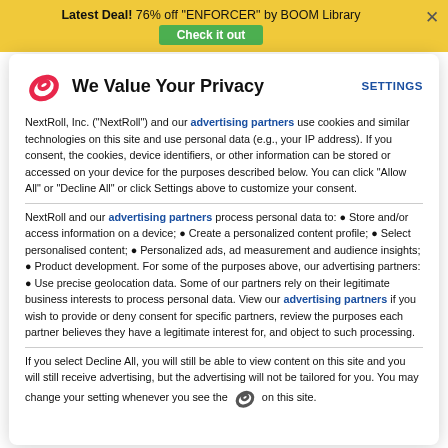Latest Deal! 76% off "ENFORCER" by BOOM Library — Check it out
We Value Your Privacy
NextRoll, Inc. ("NextRoll") and our advertising partners use cookies and similar technologies on this site and use personal data (e.g., your IP address). If you consent, the cookies, device identifiers, or other information can be stored or accessed on your device for the purposes described below. You can click "Allow All" or "Decline All" or click Settings above to customize your consent.
NextRoll and our advertising partners process personal data to: • Store and/or access information on a device; • Create a personalized content profile; • Select personalised content; • Personalized ads, ad measurement and audience insights; • Product development. For some of the purposes above, our advertising partners: • Use precise geolocation data. Some of our partners rely on their legitimate business interests to process personal data. View our advertising partners if you wish to provide or deny consent for specific partners, review the purposes each partner believes they have a legitimate interest for, and object to such processing.
If you select Decline All, you will still be able to view content on this site and you will still receive advertising, but the advertising will not be tailored for you. You may change your setting whenever you see the [icon] on this site.